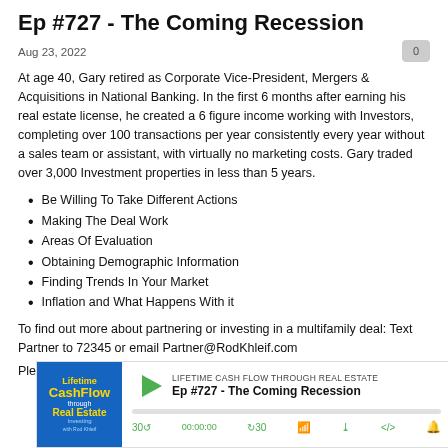Ep #727 - The Coming Recession
Aug 23, 2022
At age 40, Gary retired as Corporate Vice-President, Mergers & Acquisitions in National Banking. In the first 6 months after earning his real estate license, he created a 6 figure income working with Investors, completing over 100 transactions per year consistently every year without a sales team or assistant, with virtually no marketing costs. Gary traded over 3,000 Investment properties in less than 5 years.
Be Willing To Take Different Actions
Making The Deal Work
Areas Of Evaluation
Obtaining Demographic Information
Finding Trends In Your Market
Inflation and What Happens With it
To find out more about partnering or investing in a multifamily deal: Text Partner to 72345 or email Partner@RodKhleif.com
Please Review and Subscribe
[Figure (screenshot): Podcast player widget for 'Lifetime Cash Flow Through Real Estate' showing episode Ep #727 - The Coming Recession with play button, progress bar, and playback controls]